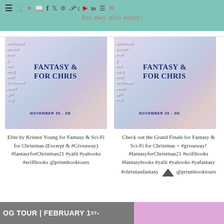You may also enjoy:
[Figure (screenshot): Book cover for Fantasy & Sci-Fi for Christmas, showing authors list on left, title in dark blue bold text, date NOVEMBER 28 - DE[cember], with pastel purple/pink/blue background with winter branches]
[Figure (screenshot): Duplicate book cover for Fantasy & Sci-Fi for Christmas, same design]
Elite by Kristen Young for Fantasy & Sci-Fi for Christmas (Excerpt & #Giveaway) #fantasyforChristmas21 #yalit #yabooks #scifibooks @prismbooktours
Check out the Grand Finale for Fantasy & Sci-Fi for Christmas + #giveaway! #fantasyforChristmas21 #scifibooks #fantasybooks #yalit #yabooks #yafantasy #christianfantasy @prismbooktours
OG TOUR | FEBRUARY 1ST -